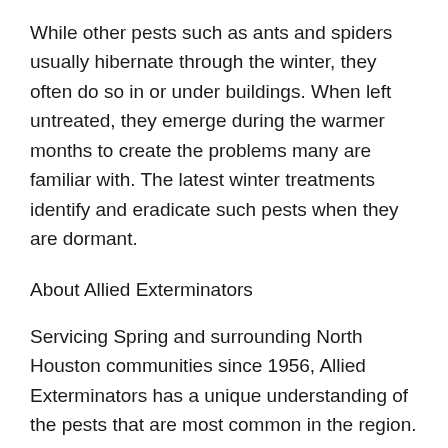While other pests such as ants and spiders usually hibernate through the winter, they often do so in or under buildings. When left untreated, they emerge during the warmer months to create the problems many are familiar with. The latest winter treatments identify and eradicate such pests when they are dormant.
About Allied Exterminators
Servicing Spring and surrounding North Houston communities since 1956, Allied Exterminators has a unique understanding of the pests that are most common in the region. As a family-owned and locally-operated business, the company's singular mission is to provide a quality and affordable service to homeowners and businesses alike.